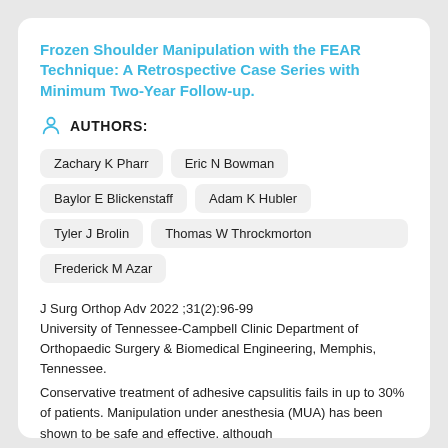Frozen Shoulder Manipulation with the FEAR Technique: A Retrospective Case Series with Minimum Two-Year Follow-up.
AUTHORS:
Zachary K Pharr
Eric N Bowman
Baylor E Blickenstaff
Adam K Hubler
Tyler J Brolin
Thomas W Throckmorton
Frederick M Azar
J Surg Orthop Adv 2022 ;31(2):96-99
University of Tennessee-Campbell Clinic Department of Orthopaedic Surgery & Biomedical Engineering, Memphis, Tennessee.
Conservative treatment of adhesive capsulitis fails in up to 30% of patients. Manipulation under anesthesia (MUA) has been shown to be safe and effective, although